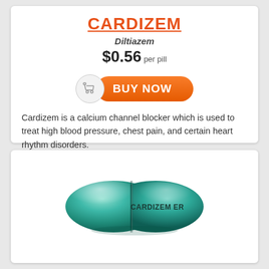CARDIZEM
Diltiazem
$0.56 per pill
[Figure (other): Orange 'BUY NOW' button with shopping cart icon on left]
Cardizem is a calcium channel blocker which is used to treat high blood pressure, chest pain, and certain heart rhythm disorders.
[Figure (illustration): Teal/green capsule pill labeled 'CARDIZEM ER']